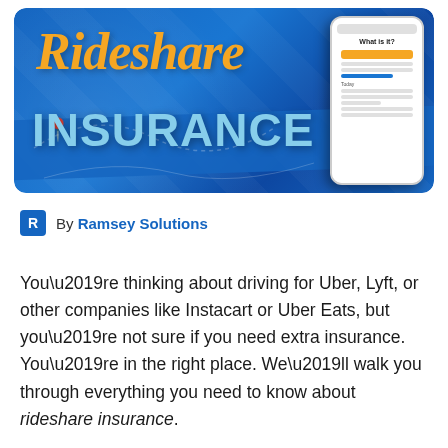[Figure (illustration): Hero banner image with blue background showing 'Rideshare INSURANCE' text in orange italic and light blue bold fonts, a location pin icon, map line overlays, and a smartphone mockup on the right showing a 'What is it?' screen with an orange button.]
By Ramsey Solutions
You’re thinking about driving for Uber, Lyft, or other companies like Instacart or Uber Eats, but you’re not sure if you need extra insurance. You’re in the right place. We’ll walk you through everything you need to know about rideshare insurance.